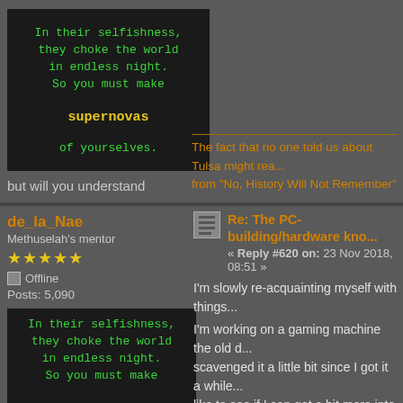[Figure (illustration): Dark banner with green and yellow text: 'In their selfishness, they choke the world in endless night. So you must make supernovas of yourselves.']
but will you understand
The fact that no one told us about Tulsa might rea... from "No, History Will Not Remember"
de_la_Nae
Methuselah's mentor
Posts: 5,090
[Figure (illustration): Dark banner with green and yellow text: 'In their selfishness, they choke the world in endless night. So you must make supernovas of yourselves.']
but will you understand
Re: The PC-building/hardware kno... « Reply #620 on: 23 Nov 2018, 08:51 »
I'm slowly re-acquainting myself with things...
I'm working on a gaming machine the old d... scavenged it a little bit since I got it a while... like to see if I can get a bit more into it.
CPU seems to be an AMD FX 6100
GPU an Nvidia GeForce GTX 560
I figure there's room for improvement here...
right now (slooooowly) looking through the... change out anything to make it more or les...